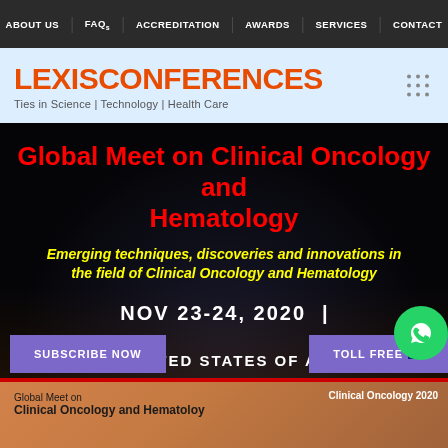ABOUT US | FAQs | ACCREDITATION | AWARDS | SERVICES | CONTACT
[Figure (logo): LEXISCONFERENCES logo with tagline: Ties in Science | Technology | Health Care]
Global Meet on Clinical Oncology and Hematology
Emerging techniques, discoveries and innovations in the field of Clinical Oncology and Hematology
NOV 23-24, 2020 |
SUBSCRIBE NOW
TOLL FREE
MIAMI, UNITED STATES OF AMERICA
[Figure (photo): Bottom section showing orange-toned background with text: Global Meet on Clinical Oncology and Hematology, and tag Clinical Oncology 2020]